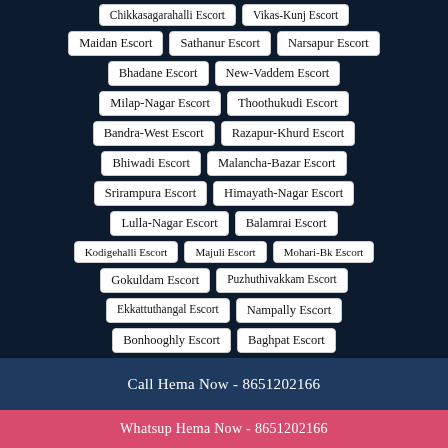Chikkasagarahalli Escort
Vikas-Kunj Escort
Maidan Escort
Sathanur Escort
Narsapur Escort
Bhadane Escort
New-Vaddem Escort
Milap-Nagar Escort
Thoothukudi Escort
Bandra-West Escort
Razapur-Khurd Escort
Bhiwadi Escort
Malancha-Bazar Escort
Srirampura Escort
Himayath-Nagar Escort
Lulla-Nagar Escort
Balamrai Escort
Kodigehalli Escort
Majuli Escort
Mohari-Bk Escort
Gokuldam Escort
Puzhuthivakkam Escort
Ekkattuthangal Escort
Nampally Escort
Bonhooghly Escort
Baghpat Escort
Call Hema Now - 8651202166
Whatsup Hema Now - 8651202166